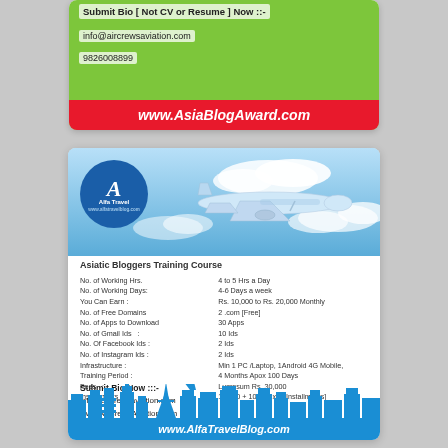[Figure (infographic): Top advertisement card showing Submit Bio text, email info@aircrewsaviation.com, phone 9826008899, and www.AsiaBlogAward.com footer on green background]
[Figure (infographic): Alfa Travel Blog advertisement card with blue sky header, airplane illustration, Alfa Travel logo, course details table for Asiatic Bloggers Training Course, submit bio section, landmark skyline silhouette, and www.AlfaTravelBlog.com footer]
Asiatic Bloggers Training Course
No. of Working Hrs. : 4 to 5 Hrs a Day
No. of Working Days: 4-6 Days a week
You Can Earn : Rs. 10,000 to Rs. 20,000 Monthly
No. of Free Domains 2 .com [Free]
No. of Apps to Download 30 Apps
No. of Gmail Ids : 10 Ids
No. Of Facebook Ids : 2 Ids
No. of Instagram Ids : 2 Ids
Infrastructure : Min 1 PC /Laptop, 1Android 4G Mobile,
Training Period : 4 Months Apox 100 Days
Fees : Lumpsum Rs. 30,000
Installments : 15,000 + 10,000 x 3 [Installments]
Submit Bio Now :::-
info@aircrewsaviation.com
www.AirCrewsAviation.com
Call : +91 9826008899